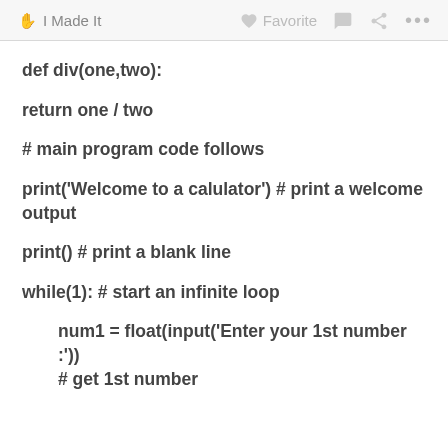✋ I Made It   ♡ Favorite   💬   ⋖   ...
def div(one,two):
return one / two
# main program code follows
print('Welcome to a calulator') # print a welcome output
print() # print a blank line
while(1): # start an infinite loop
num1 = float(input('Enter your 1st number :'))
    # get 1st number